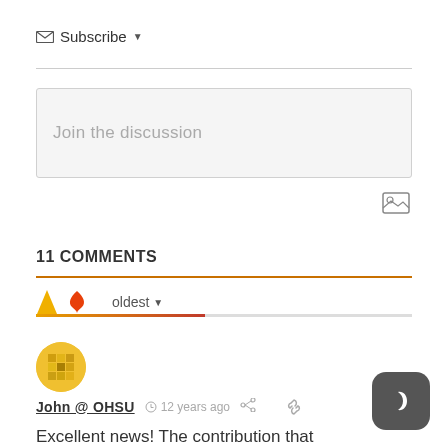✉ Subscribe ▾
Join the discussion
11 COMMENTS
oldest ▾
[Figure (illustration): User avatar: pixelated yellow/gold square pattern on circular background]
John @ OHSU  ·  12 years ago
Excellent news! The contribution that South Waterfront bike commuters make